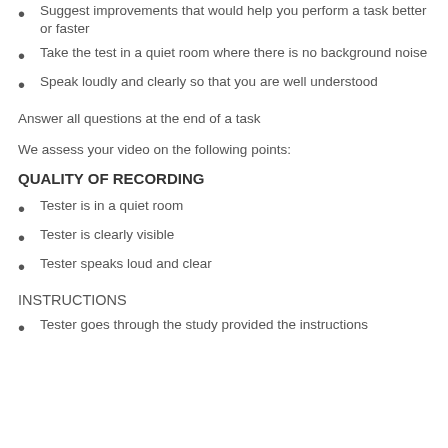Suggest improvements that would help you perform a task better or faster
Take the test in a quiet room where there is no background noise
Speak loudly and clearly so that you are well understood
Answer all questions at the end of a task
We assess your video on the following points:
QUALITY OF RECORDING
Tester is in a quiet room
Tester is clearly visible
Tester speaks loud and clear
INSTRUCTIONS
Tester goes through the study provided the instructions